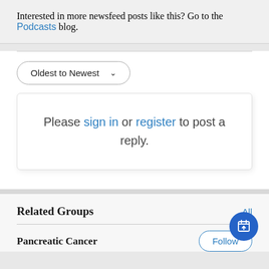Interested in more newsfeed posts like this? Go to the Podcasts blog.
Oldest to Newest
Please sign in or register to post a reply.
Related Groups
Pancreatic Cancer